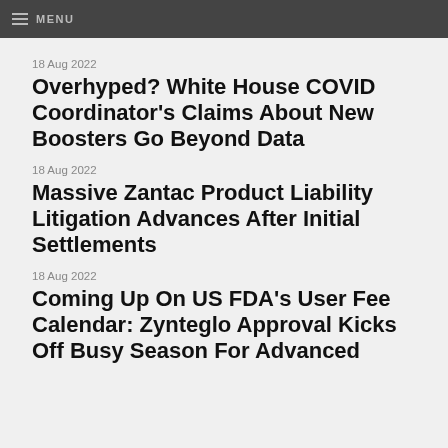MENU
18 Aug 2022
Overhyped? White House COVID Coordinator's Claims About New Boosters Go Beyond Data
18 Aug 2022
Massive Zantac Product Liability Litigation Advances After Initial Settlements
18 Aug 2022
Coming Up On US FDA's User Fee Calendar: Zynteglo Approval Kicks Off Busy Season For Advanced